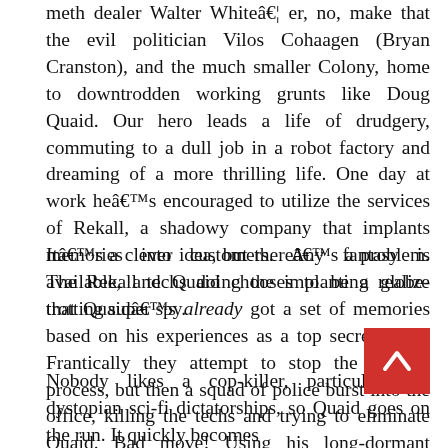meth dealer Walter White… er, no, make that the evil politician Vilos Cohaagen (Bryan Cranston), and the much smaller Colony, home to downtrodden working grunts like Doug Quaid. Our hero leads a life of drudgery, commuting to a dull job in a robot factory and dreaming of a more thrilling life. One day at work he's encouraged to utilize the services of Rekall, a shadowy company that implants memories into customers. Any fantasy is available, and Quaid chooses to be a globe-trotting super spy.
It's a clever idea, but there's a problem. The Rekall techs doing the implanting realize that Quaid's already got a set of memories based on his experiences as a top secret agent. Frantically they attempt to stop the implant process, but then a squad of police burst into the office, killing the techs and trying to eliminate Quaid. Bad move! Using his long-dormant combat skills he swiftly wipes out the cops.
Nobody likes a cop-killer, particularly in dystopian sci-fi dictatorships, so Quaid goes on the run. It quickly becomes apparent that is his (real? imagined?) spy past, and he must deal with it.